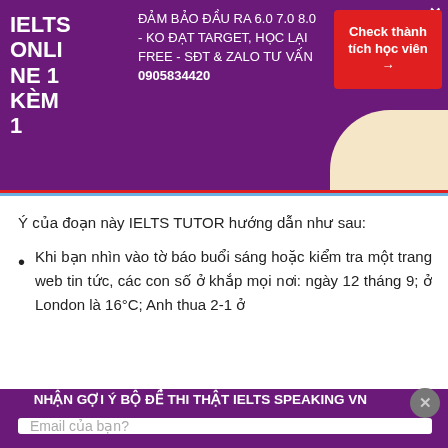IELTS ONLINE 1 KÈM 1
ĐẢM BẢO ĐẦU RA 6.0 7.0 8.0 - KO ĐẠT TARGET, HỌC LẠI FREE - SĐT & ZALO TƯ VẤN 0905834420
Check thành tích học viên →
Ý của đoạn này IELTS TUTOR hướng dẫn như sau:
Khi bạn nhìn vào tờ báo buổi sáng hoặc kiểm tra một trang web tin tức, các con số ở khắp mọi nơi: ngày 12 tháng 9; ở London là 16°C; Anh thua 2-1 ở
NHẬN GỢI Ý BỘ ĐỀ THI THẬT IELTS SPEAKING VN
Email của bạn?
Gửi liền cho mình!